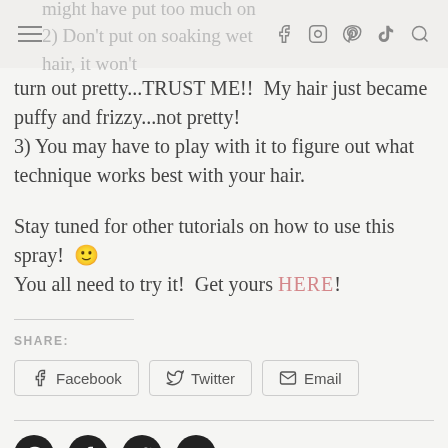might have put too much on
2) Don't put on soaking wet hair, it won't
turn out pretty...TRUST ME!!  My hair just became puffy and frizzy...not pretty!
3) You may have to play with it to figure out what technique works best with your hair.
Stay tuned for other tutorials on how to use this spray!  🙂
You all need to try it!  Get yours HERE!
SHARE:
Facebook  Twitter  Email
SHARE THIS POST